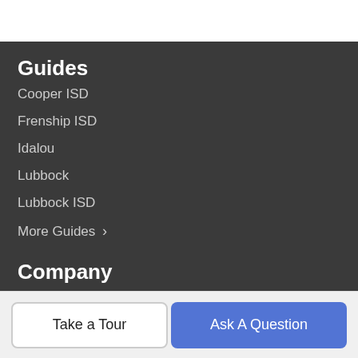Guides
Cooper ISD
Frenship ISD
Idalou
Lubbock
Lubbock ISD
More Guides >
Company
Meet The Team
Our Blog
Contact Us
Take a Tour
Ask A Question